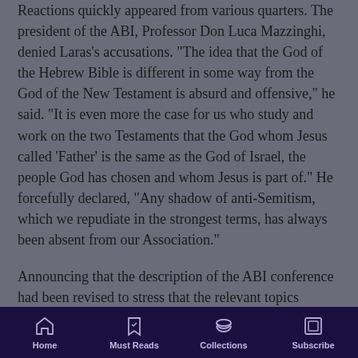Reactions quickly appeared from various quarters. The president of the ABI, Professor Don Luca Mazzinghi, denied Laras’s accusations. “The idea that the God of the Hebrew Bible is different in some way from the God of the New Testament is absurd and offensive,” he said. “It is even more the case for us who study and work on the two Testaments that the God whom Jesus called ‘Father’ is the same as the God of Israel, the people God has chosen and whom Jesus is part of.” He forcefully declared, “Any shadow of anti-Semitism, which we repudiate in the strongest terms, has always been absent from our Association.”
Announcing that the description of the ABI conference had been revised to stress that the relevant topics applied to Judaism, Christianity, and
Home | Must Reads | Collections | Subscribe